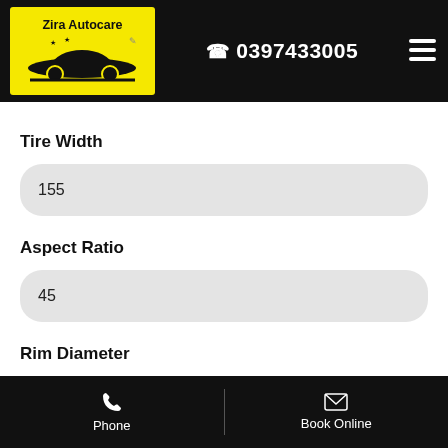[Figure (logo): Zira Autocare logo on yellow background with car and wrench silhouette]
0397433005
Tire Width
155
Aspect Ratio
45
Rim Diameter
12
Phone   Book Online